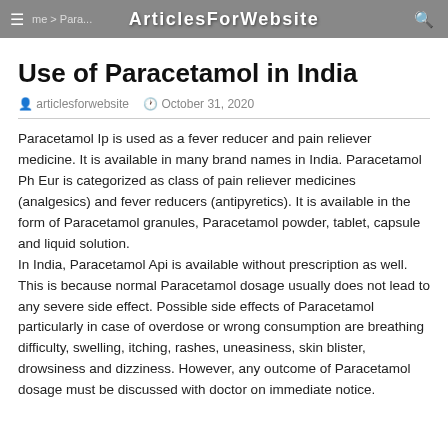ArticlesForWebsite
Use of Paracetamol in India
articlesforwebsite   October 31, 2020
Paracetamol Ip is used as a fever reducer and pain reliever medicine. It is available in many brand names in India. Paracetamol Ph Eur is categorized as class of pain reliever medicines (analgesics) and fever reducers (antipyretics). It is available in the form of Paracetamol granules, Paracetamol powder, tablet, capsule and liquid solution.
In India, Paracetamol Api is available without prescription as well. This is because normal Paracetamol dosage usually does not lead to any severe side effect. Possible side effects of Paracetamol particularly in case of overdose or wrong consumption are breathing difficulty, swelling, itching, rashes, uneasiness, skin blister, drowsiness and dizziness. However, any outcome of Paracetamol dosage must be discussed with doctor on immediate notice.